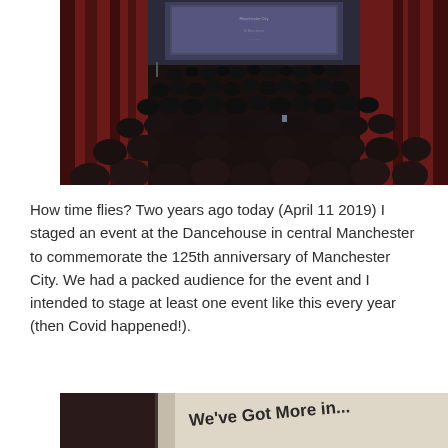[Figure (photo): Dark auditorium filled with a large audience viewed from behind, facing a stage with red curtains and a projection screen showing a presentation slide.]
How time flies? Two years ago today (April 11 2019) I staged an event at the Dancehouse in central Manchester to commemorate the 125th anniversary of Manchester City. We had a packed audience for the event and I intended to stage at least one event like this every year (then Covid happened!).
[Figure (photo): Partial view of a projection screen showing the text 'We've Got More in...' on a dark background, with an audience visible.]